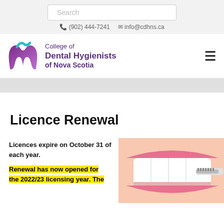Search | (902) 444-7241 | info@cdhns.ca
[Figure (logo): College of Dental Hygienists of Nova Scotia logo with purple tooth/wave icon]
Licence Renewal
Licences expire on October 31 of each year.
Renewal has now opened for the 2022/23 licensing year. The
[Figure (photo): Close-up photo of a person smiling with teeth, holding a toothbrush]